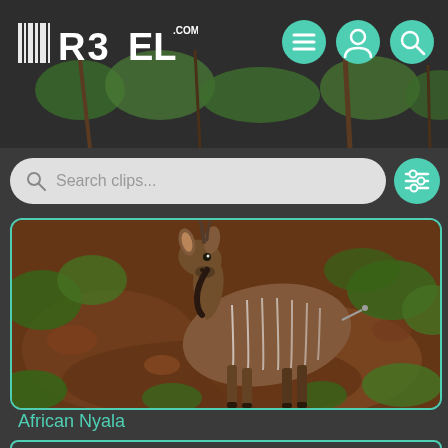[Figure (screenshot): Website header with R3EL.COM logo on dark background with foliage/trees visible, and three teal circular nav icons (menu hamburger, person/account, magnifying glass search)]
[Figure (screenshot): Search bar with magnifying glass icon and placeholder text 'Search clips...' on light gray rounded pill background, with teal circular filter icon to the right]
[Figure (photo): Photo of an African Nyala antelope standing on rocky reddish-brown ground with green vegetation, looking toward camera. The animal has vertical white stripes on its brown body.]
African Nyala